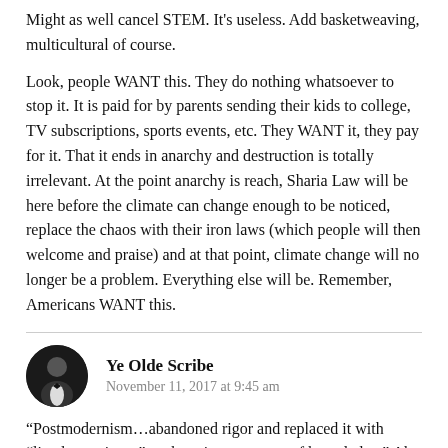Might as well cancel STEM. It's useless. Add basketweaving, multicultural of course.
Look, people WANT this. They do nothing whatsoever to stop it. It is paid for by parents sending their kids to college, TV subscriptions, sports events, etc. They WANT it, they pay for it. That it ends in anarchy and destruction is totally irrelevant. At the point anarchy is reach, Sharia Law will be here before the climate can change enough to be noticed, replace the chaos with their iron laws (which people will then welcome and praise) and at that point, climate change will no longer be a problem. Everything else will be. Remember, Americans WANT this.
Ye Olde Scribe
November 11, 2017 at 9:45 am
“Postmodernism…abandoned rigor and replaced it with “lived experience” as the primary source of knowledge.” Ah yes, the logic of Amoris Laetitia, which replaces